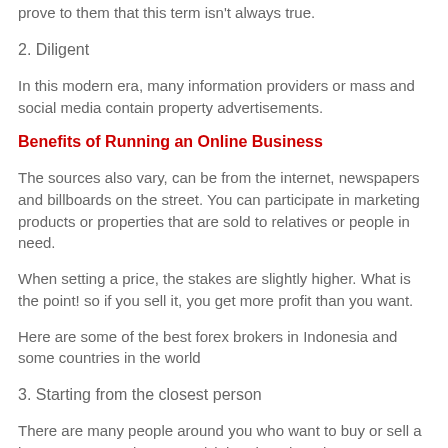prove to them that this term isn't always true.
2. Diligent
In this modern era, many information providers or mass and social media contain property advertisements.
Benefits of Running an Online Business
The sources also vary, can be from the internet, newspapers and billboards on the street. You can participate in marketing products or properties that are sold to relatives or people in need.
When setting a price, the stakes are slightly higher. What is the point! so if you sell it, you get more profit than you want.
Here are some of the best forex brokers in Indonesia and some countries in the world
3. Starting from the closest person
There are many people around you who want to buy or sell a house. You can observe and 'join' when there is a